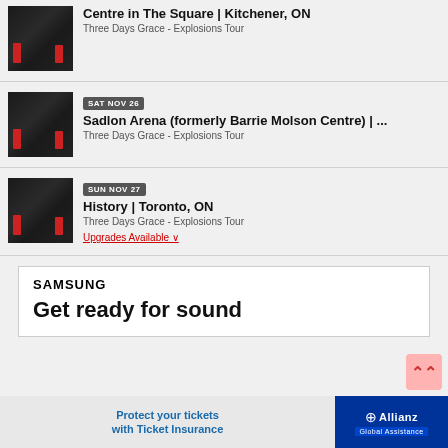Centre in The Square | Kitchener, ON — Three Days Grace - Explosions Tour
SAT NOV 26 — Sadlon Arena (formerly Barrie Molson Centre) | ... — Three Days Grace - Explosions Tour
SUN NOV 27 — History | Toronto, ON — Three Days Grace - Explosions Tour — Upgrades Available
[Figure (screenshot): Samsung advertisement: SAMSUNG logo with tagline 'Get ready for sound']
[Figure (screenshot): Bottom banner ad: 'Protect your tickets with Ticket Insurance' with Allianz Global Assistance logo]